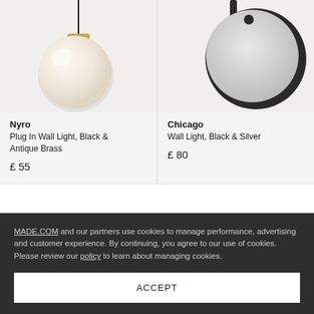[Figure (photo): Nyro Plug In Wall Light with white frosted globe shade and antique brass fitting, with black cord]
[Figure (photo): Chicago Wall Light with circular disc in black and silver finish]
Nyro
Plug In Wall Light, Black & Antique Brass
£ 55
Chicago
Wall Light, Black & Silver
£ 80
MADE.COM and our partners use cookies to manage performance, advertising and customer experience. By continuing, you agree to our use of cookies. Please review our policy to learn about managing cookies.
ACCEPT